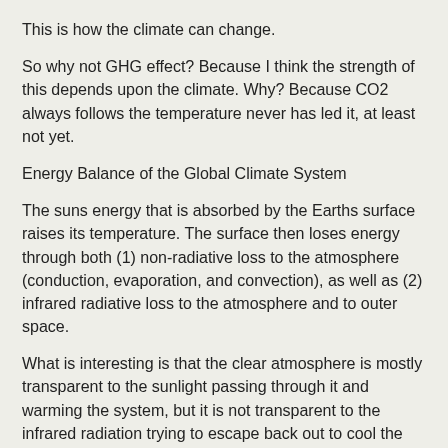This is how the climate can change.
So why not GHG effect? Because I think the strength of this depends upon the climate. Why? Because CO2 always follows the temperature never has led it, at least not yet.
Energy Balance of the Global Climate System
The suns energy that is absorbed by the Earths surface raises its temperature. The surface then loses energy through both (1) non-radiative loss to the atmosphere (conduction, evaporation, and convection), as well as (2) infrared radiative loss to the atmosphere and to outer space.
What is interesting is that the clear atmosphere is mostly transparent to the sunlight passing through it and warming the system, but it is not transparent to the infrared radiation trying to escape back out to cool the system. This is the basis of the atmospheric greenhouse effect.
Now, in order for the climate system to maintain a